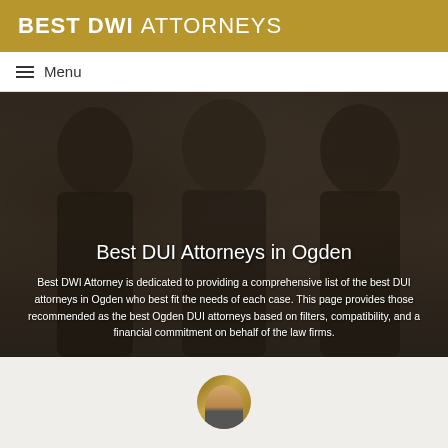BEST DWI ATTORNEYS
☰ Menu
Best DUI Attorneys in Ogden
Best DWI Attorney is dedicated to providing a comprehensive list of the best DUI attorneys in Ogden who best fit the needs of each case. This page provides those recommended as the best Ogden DUI attorneys based on filters, compatibility, and a financial commitment on behalf of the law firms.
[Figure (photo): Circular cropped photo of a person, partially visible at bottom of page]